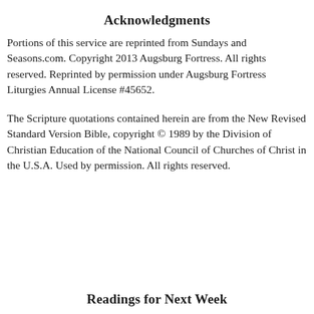Acknowledgments
Portions of this service are reprinted from Sundays and Seasons.com. Copyright 2013 Augsburg Fortress. All rights reserved. Reprinted by permission under Augsburg Fortress Liturgies Annual License #45652.
The Scripture quotations contained herein are from the New Revised Standard Version Bible, copyright © 1989 by the Division of Christian Education of the National Council of Churches of Christ in the U.S.A. Used by permission. All rights reserved.
Readings for Next Week